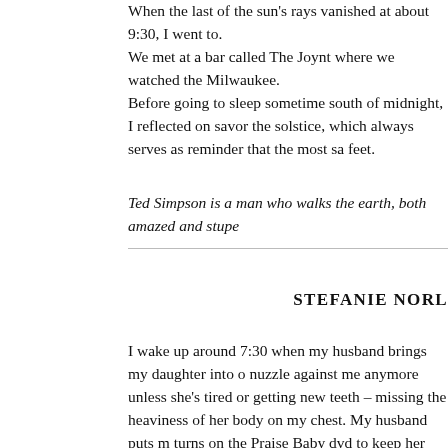When the last of the sun's rays vanished at about 9:30, I went to. We met at a bar called The Joynt where we watched the Milwaukee. Before going to sleep sometime south of midnight, I reflected on savor the solstice, which always serves as reminder that the most sa feet.
Ted Simpson is a man who walks the earth, both amazed and stupe
STEFANIE NORL
I wake up around 7:30 when my husband brings my daughter into o nuzzle against me anymore unless she's tired or getting new teeth – missing the heaviness of her body on my chest. My husband puts m turns on the Praise Baby dvd to keep her occupied until I get up to fe Psychedelic spirals and gummy-toothed babies flash on the televisio music. I kiss his cheek. We married on this day in 2014 at a historic when I smell clover in the summer, I still think of it. After he leaves for work, I lay in bed for a few minutes and quickh to check my notifications. I roll over and pet our sleeping dog—he's buried deep into the crevice between the mattress and the wall. I so newsletters and electronic billing notices, reminding myself to unsub